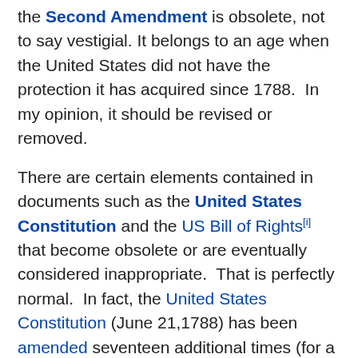the Second Amendment is obsolete, not to say vestigial. It belongs to an age when the United States did not have the protection it has acquired since 1788. In my opinion, it should be revised or removed.
There are certain elements contained in documents such as the United States Constitution and the US Bill of Rights[i] that become obsolete or are eventually considered inappropriate. That is perfectly normal. In fact, the United States Constitution (June 21,1788) has been amended seventeen additional times (for a total of 27 amendments). Times change. For instance, we have left the age of the horse and buggy.
Here is the text of the Second Amendment.
“A well regulated Militia, being necessary to the security of a free State, the right of the people to keep and bear